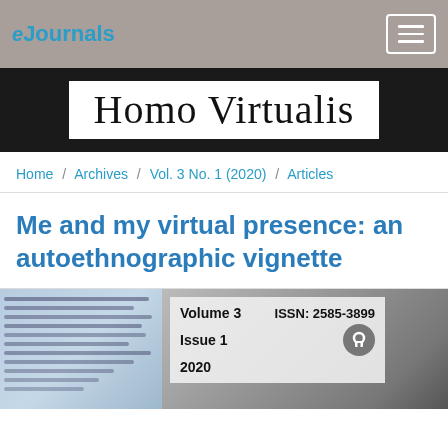eJournals
[Figure (logo): Homo Virtualis journal header banner with handwritten-style text on black background]
Home / Archives / Vol. 3 No. 1 (2020) / Articles
Me and my virtual presence: an autoethnographic vignette
[Figure (photo): Journal cover image showing handwritten manuscript page on left (blue-tinted) and pixelated/blurred image on right, with overlay showing Volume 3, Issue 1, 2020, ISSN: 2585-3899]